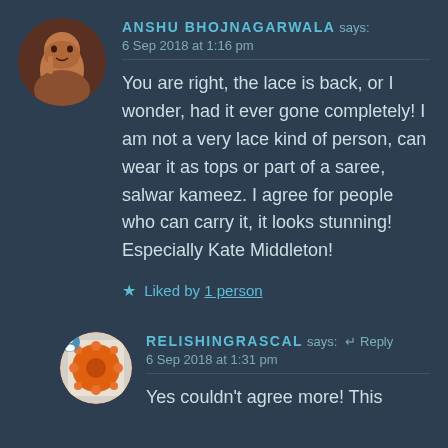[Figure (photo): Circular avatar photo of Anshu Bhojnagarwala, a woman with her hand near her face]
ANSHU BHOJNAGARWALA says:
6 Sep 2018 at 1:16 pm
You are right, the lace is back, or I wonder, had it ever gone completely! I am not a very lace kind of person, can wear it as tops or part of a saree, salwar kameez. I agree for people who can carry it, it looks stunning! Especially Kate Middleton!
★ Liked by 1 person
[Figure (photo): Circular avatar image of relishingrascal, showing an orange flower/donut pattern book cover]
RELISHINGRASCAL says: Reply
6 Sep 2018 at 1:31 pm
Yes couldn't agree more! This